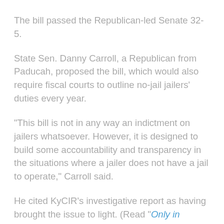The bill passed the Republican-led Senate 32-5.
State Sen. Danny Carroll, a Republican from Paducah, proposed the bill, which would also require fiscal courts to outline no-jail jailers' duties every year.
“This bill is not in any way an indictment on jailers whatsoever. However, it is designed to build some accountability and transparency in the situations where a jailer does not have a jail to operate,” Carroll said.
He cited KyCIR’s investigative report as having brought the issue to light. (Read “Only in